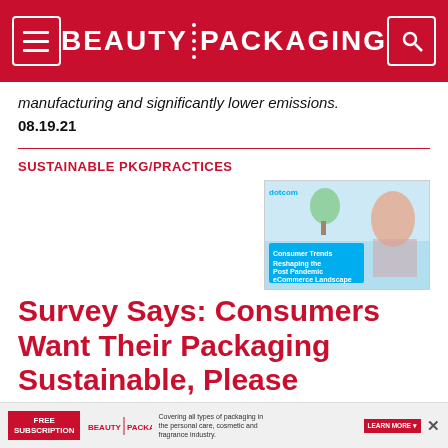BEAUTY PACKAGING
manufacturing and significantly lower emissions.
08.19.21
SUSTAINABLE PKG/PRACTICES
[Figure (photo): Advertisement showing a woman on her phone with text 'Consumer Trends Reshaping the Post Pandemic eCommerce Landscape']
Survey Says: Consumers Want Their Packaging Sustainable, Please
Environmentally-focused beauty brands are attracting—
[Figure (other): Bottom advertisement bar: Free Subscription - Beauty Packaging - Covering all types of packaging in the personal care, cosmetic and fragrance industry. LEARN MORE]